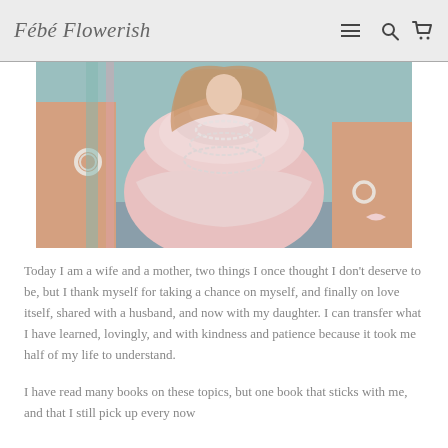Fébé Flowerish
[Figure (photo): A girl/woman wearing a pink ruffled tulle dress with pearl necklaces and pearl bracelets, arms outstretched, standing outdoors with a teal background.]
Today I am a wife and a mother, two things I once thought I don't deserve to be, but I thank myself for taking a chance on myself, and finally on love itself, shared with a husband, and now with my daughter. I can transfer what I have learned, lovingly, and with kindness and patience because it took me half of my life to understand.
I have read many books on these topics, but one book that sticks with me, and that I still pick up every now